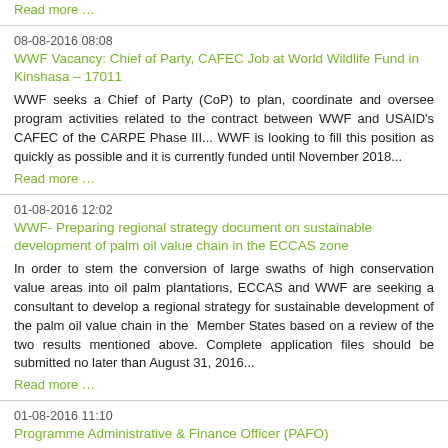Read more …
08-08-2016 08:08
WWF Vacancy: Chief of Party, CAFEC Job at World Wildlife Fund in Kinshasa – 17011
WWF seeks a Chief of Party (CoP) to plan, coordinate and oversee program activities related to the contract between WWF and USAID's CAFEC of the CARPE Phase III... WWF is looking to fill this position as quickly as possible and it is currently funded until November 2018...
Read more …
01-08-2016 12:02
WWF- Preparing regional strategy document on sustainable development of palm oil value chain in the ECCAS zone
In order to stem the conversion of large swaths of high conservation value areas into oil palm plantations, ECCAS and WWF are seeking a consultant to develop a regional strategy for sustainable development of the palm oil value chain in the  Member States based on a review of the two results mentioned above. Complete application files should be submitted no later than August 31, 2016...
Read more …
01-08-2016 11:10
Programme Administrative & Finance Officer (PAFO)
The World Wide Fund for Nature seeks a Programme Administration & Accounting Officer - Jengi TNS Lobeke Programme. Under the technical guidance of the Chief Financial Officer, the PAFO will maintain detailed records of all financial transactions related to the Jengi TNS programme under the supervision of the Project/Program Manager in an organized and professional manner. Deadline for applications: 14TH august, 2016...